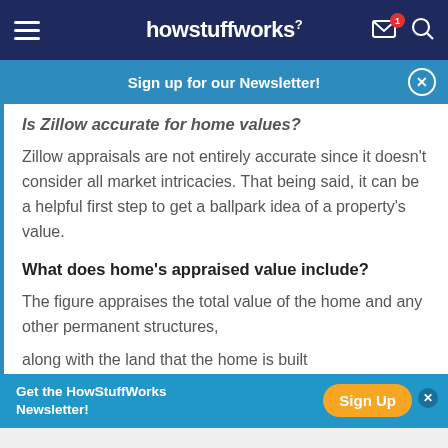howstuffworks
Sign up for our Newsletter!
Is Zillow accurate for home values?
Zillow appraisals are not entirely accurate since it doesn't consider all market intricacies. That being said, it can be a helpful first step to get a ballpark idea of a property's value.
What does home's appraised value include?
The figure appraises the total value of the home and any other permanent structures, along with the land that the home is built...
Get the HowStuffWorks Newsletter!